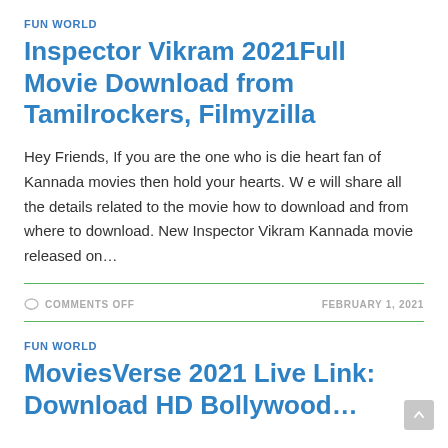FUN WORLD
Inspector Vikram 2021Full Movie Download from Tamilrockers, Filmyzilla
Hey Friends, If you are the one who is die heart fan of Kannada movies then hold your hearts. W e will share all the details related to the movie how to download and from where to download. New Inspector Vikram Kannada movie released on…
COMMENTS OFF
FEBRUARY 1, 2021
FUN WORLD
MoviesVerse 2021 Live Link: Download HD Bollywood…